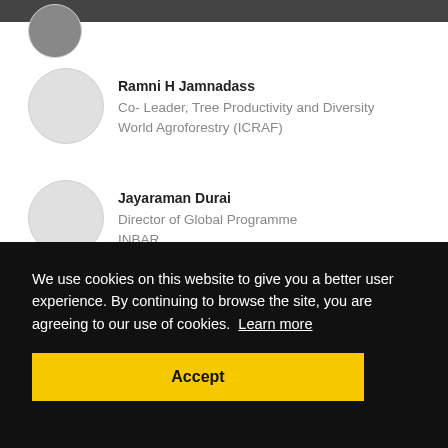[Figure (photo): Partial circular avatar/photo at top left, mostly cropped]
[Figure (photo): Empty circular avatar placeholder for Ramni H Jamnadass]
Ramni H Jamnadass
Co- Leader, Tree Productivity and Diversity
World Agroforestry (ICRAF)
[Figure (photo): Empty circular avatar placeholder for Jayaraman Durai]
Jayaraman Durai
Director of Global Programme
INBAR
We use cookies on this website to give you a better user experience. By continuing to browse the site, you are agreeing to our use of cookies.  Learn more
Accept